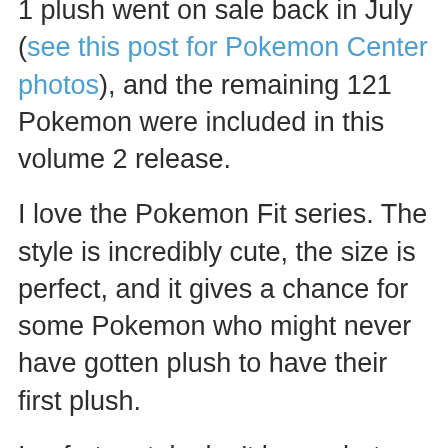1 plush went on sale back in July (see this post for Pokemon Center photos), and the remaining 121 Pokemon were included in this volume 2 release.

I love the Pokemon Fit series. The style is incredibly cute, the size is perfect, and it gives a chance for some Pokemon who might never have gotten plush to have their first plush.

I unfortunately don't have photos of every single Pokemon included in this release, but here are some highlights from over the weekend!